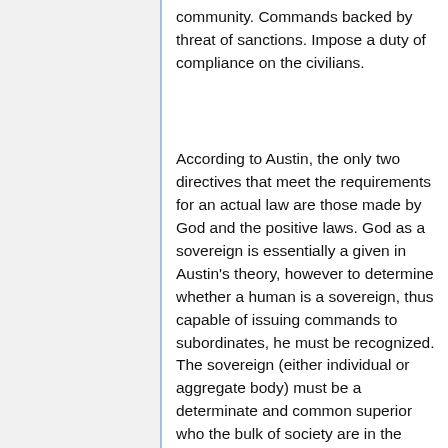community. Commands backed by threat of sanctions. Impose a duty of compliance on the civilians.
According to Austin, the only two directives that meet the requirements for an actual law are those made by God and the positive laws. God as a sovereign is essentially a given in Austin's theory, however to determine whether a human is a sovereign, thus capable of issuing commands to subordinates, he must be recognized. The sovereign (either individual or aggregate body) must be a determinate and common superior who the bulk of society are in the habit of obedience or submission. Austin summarizes his thoughts on superiority in the following,